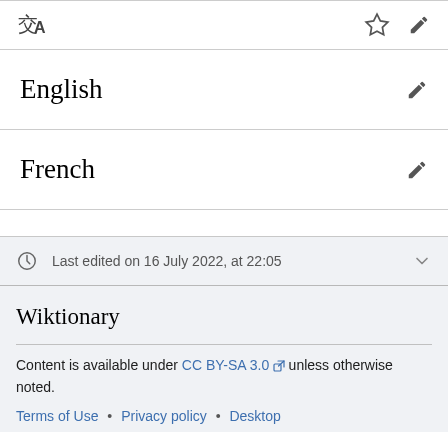交A  ☆  ✎
English
French
Last edited on 16 July 2022, at 22:05
Wiktionary
Content is available under CC BY-SA 3.0 unless otherwise noted.
Terms of Use • Privacy policy • Desktop